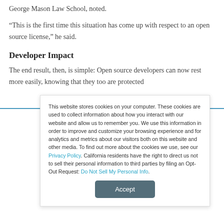George Mason Law School, noted.
“This is the first time this situation has come up with respect to an open source license,” he said.
Developer Impact
The end result, then, is simple: Open source developers can now rest more easily, knowing that they too are protected
This website stores cookies on your computer. These cookies are used to collect information about how you interact with our website and allow us to remember you. We use this information in order to improve and customize your browsing experience and for analytics and metrics about our visitors both on this website and other media. To find out more about the cookies we use, see our Privacy Policy. California residents have the right to direct us not to sell their personal information to third parties by filing an Opt-Out Request: Do Not Sell My Personal Info.
Accept